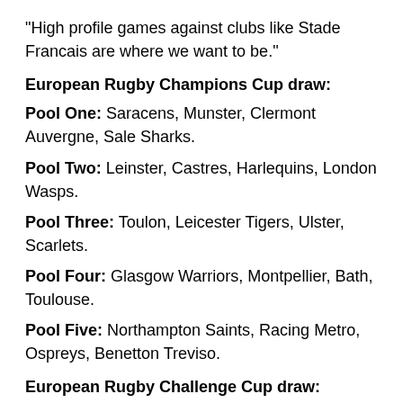"High profile games against clubs like Stade Francais are where we want to be."
European Rugby Champions Cup draw:
Pool One: Saracens, Munster, Clermont Auvergne, Sale Sharks.
Pool Two: Leinster, Castres, Harlequins, London Wasps.
Pool Three: Toulon, Leicester Tigers, Ulster, Scarlets.
Pool Four: Glasgow Warriors, Montpellier, Bath, Toulouse.
Pool Five: Northampton Saints, Racing Metro, Ospreys, Benetton Treviso.
European Rugby Challenge Cup draw:
Pool One: Cardiff Blues, London Irish, Grenoble,